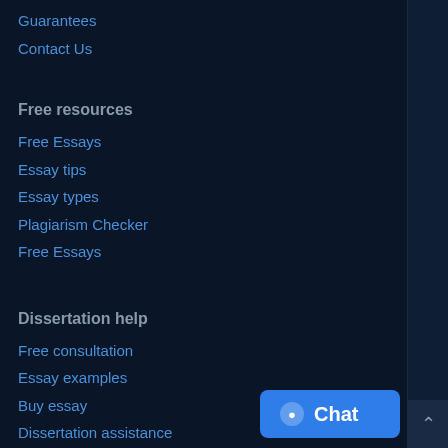Guarantees
Contact Us
Free resources
Free Essays
Essay tips
Essay types
Plagiarism Checker
Free Essays
Dissertation help
Free consultation
Essay examples
Buy essay
Dissertation assistance